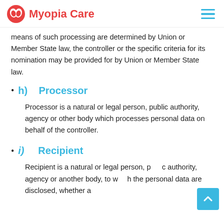Myopia Care
means of such processing are determined by Union or Member State law, the controller or the specific criteria for its nomination may be provided for by Union or Member State law.
h)   Processor
Processor is a natural or legal person, public authority, agency or other body which processes personal data on behalf of the controller.
i)    Recipient
Recipient is a natural or legal person, public authority, agency or another body, to which the personal data are disclosed, whether a